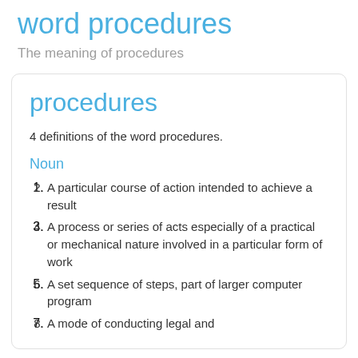word procedures
The meaning of procedures
procedures
4 definitions of the word procedures.
Noun
A particular course of action intended to achieve a result
A process or series of acts especially of a practical or mechanical nature involved in a particular form of work
A set sequence of steps, part of larger computer program
A mode of conducting legal and